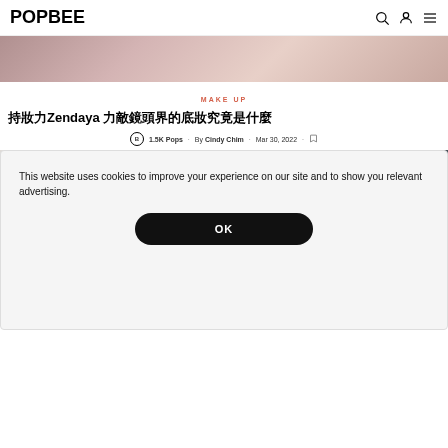POPBEE
[Figure (photo): Top portion of a hero image showing a person in a sparkly/sequined outfit at what appears to be a red carpet or event]
MAKE UP
持妝力Zendaya 力敵鏡頭界的底妝究竟是什麼
1.5K Pops · By Cindy Chim · Mar 30, 2022 ·
[Figure (photo): Two side-by-side photos: left shows a light outdoor scene with someone holding a phone, right shows a darker scene with tall dark columns/pillars and people in background]
This website uses cookies to improve your experience on our site and to show you relevant advertising.
OK